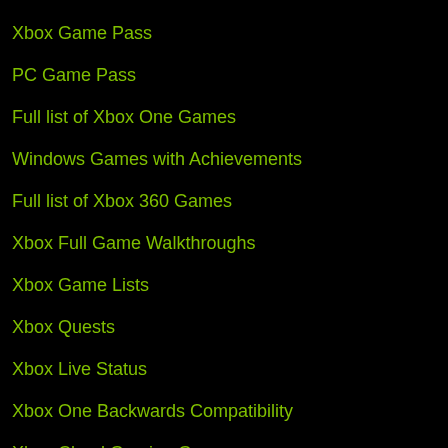Xbox Game Pass
PC Game Pass
Full list of Xbox One Games
Windows Games with Achievements
Full list of Xbox 360 Games
Xbox Full Game Walkthroughs
Xbox Game Lists
Xbox Quests
Xbox Live Status
Xbox One Backwards Compatibility
Xbox Cloud Gaming Games